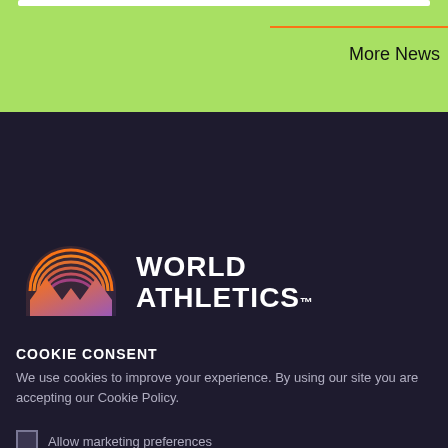[Figure (screenshot): Green background top section with white bar, orange horizontal line, and 'More News' text link]
[Figure (logo): World Athletics logo with orange/purple mountain/circle icon and white bold text 'WORLD ATHLETICS.']
COOKIE CONSENT
We use cookies to improve your experience. By using our site you are accepting our Cookie Policy.
Allow marketing preferences
Continue